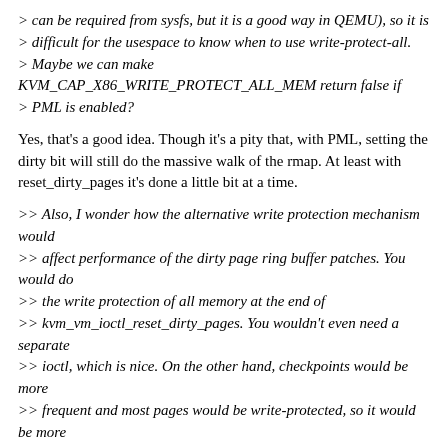> can be required from sysfs, but it is a good way in QEMU), so it is
> difficult for the usespace to know when to use write-protect-all.
> Maybe we can make KVM_CAP_X86_WRITE_PROTECT_ALL_MEM return false if
> PML is enabled?
Yes, that's a good idea. Though it's a pity that, with PML, setting the
dirty bit will still do the massive walk of the rmap. At least with reset_dirty_pages it's done a little bit at a time.
>> Also, I wonder how the alternative write protection mechanism would
>> affect performance of the dirty page ring buffer patches. You would do
>> the write protection of all memory at the end of
>> kvm_vm_ioctl_reset_dirty_pages. You wouldn't even need a separate
>> ioctl, which is nice. On the other hand, checkpoints would be more
>> frequent and most pages would be write-protected, so it would be more
>> expensive to rebuild the shadow page tables...
>